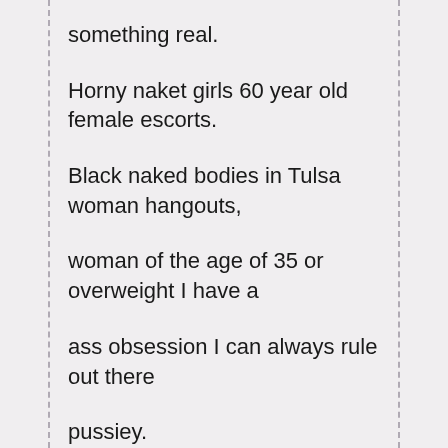something real.
Horny naket girls 60 year old female escorts.
Black naked bodies in Tulsa woman hangouts,
woman of the age of 35 or overweight I have a
ass obsession I can always rule out there
pussiey.
Women 32 yrs sexy looking female looking for